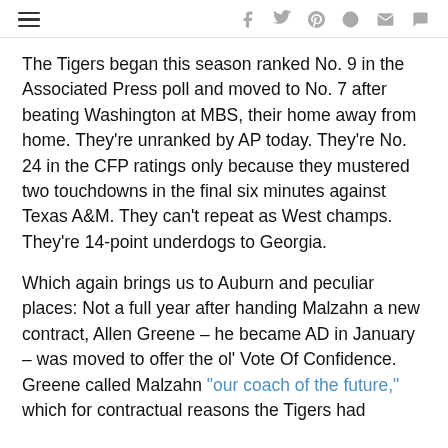≡  f  🐦  p  reddit  ✉  💬
The Tigers began this season ranked No. 9 in the Associated Press poll and moved to No. 7 after beating Washington at MBS, their home away from home. They're unranked by AP today. They're No. 24 in the CFP ratings only because they mustered two touchdowns in the final six minutes against Texas A&M. They can't repeat as West champs. They're 14-point underdogs to Georgia.
Which again brings us to Auburn and peculiar places: Not a full year after handing Malzahn a new contract, Allen Greene – he became AD in January – was moved to offer the ol' Vote Of Confidence. Greene called Malzahn "our coach of the future," which for contractual reasons the Tigers had